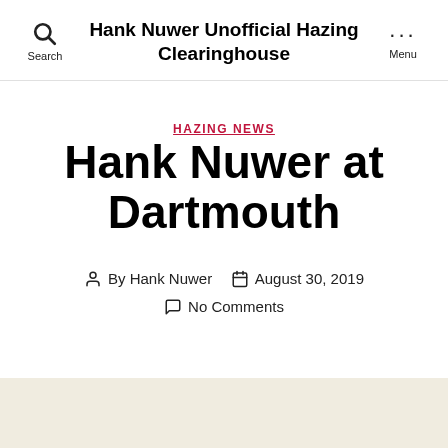Hank Nuwer Unofficial Hazing Clearinghouse
HAZING NEWS
Hank Nuwer at Dartmouth
By Hank Nuwer  August 30, 2019  No Comments